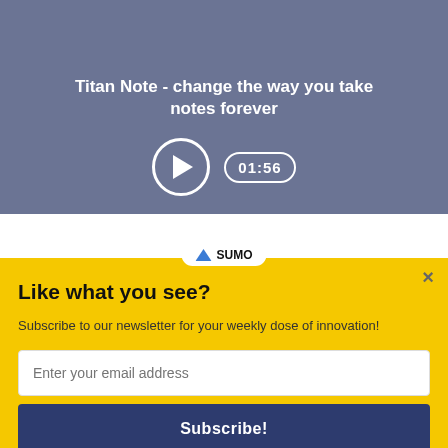[Figure (screenshot): Video thumbnail with dark blue-gray background showing a device with dots. Title text 'Titan Note - change the way you take notes forever' in white. Play button circle and time badge showing 01:56.]
[Figure (screenshot): Action bar with yellow upvote button showing arrow up and 0, dark blue share button with arrow icon, and Flag button on the right.]
WHY SHOULD YOU WATCH THIS?
[Figure (screenshot): Yellow popup overlay with Sumo branding bar. Contains heading 'Like what you see?', description text, email input field, and Subscribe button. Close X in top right.]